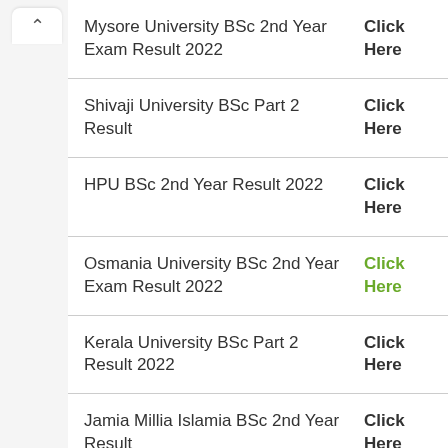Mysore University BSc 2nd Year Exam Result 2022 | Click Here
Shivaji University BSc Part 2 Result | Click Here
HPU BSc 2nd Year Result 2022 | Click Here
Osmania University BSc 2nd Year Exam Result 2022 | Click Here
Kerala University BSc Part 2 Result 2022 | Click Here
Jamia Millia Islamia BSc 2nd Year Result | Click Here
Goa University BSc Second Year Result 2022 | Click Here